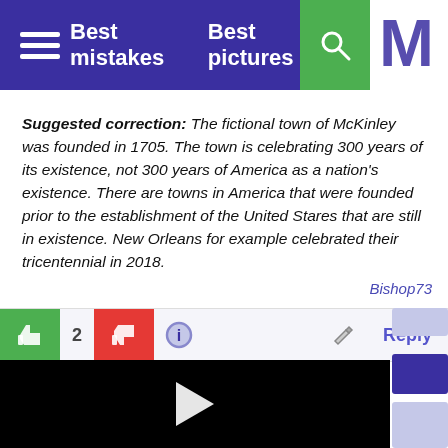Best mistakes   Best pictures
Suggested correction: The fictional town of McKinley was founded in 1705. The town is celebrating 300 years of its existence, not 300 years of America as a nation's existence. There are towns in America that were founded prior to the establishment of the United Stares that are still in existence. New Orleans for example celebrated their tricentennial in 2018.
Bishop73
[Figure (screenshot): Action bar with thumbs up (green), vote count 2, thumbs down (red), info button, pencil/edit icon, and Reply link]
[Figure (screenshot): Black video player area with white play button triangle in center]